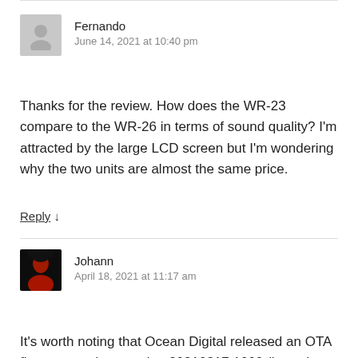Fernando
June 14, 2021 at 10:40 pm
Thanks for the review. How does the WR-23 compare to the WR-26 in terms of sound quality? I'm attracted by the large LCD screen but I'm wondering why the two units are almost the same price.
Reply ↓
Johann
April 18, 2021 at 11:17 am
It's worth noting that Ocean Digital released an OTA firmware update version 20210217.1000 (brought to me on 15. April)